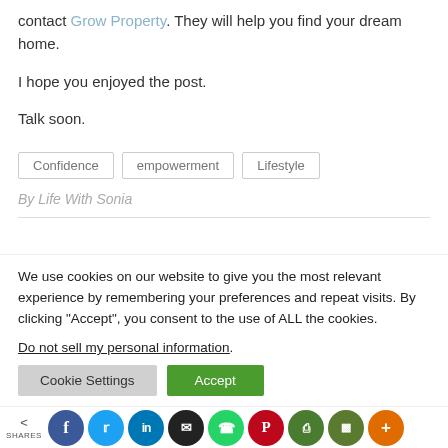contact Grow Property. They will help you find your dream home.
I hope you enjoyed the post.
Talk soon.
Confidence   empowerment   Lifestyle
By Life With Sonia
We use cookies on our website to give you the most relevant experience by remembering your preferences and repeat visits. By clicking “Accept”, you consent to the use of ALL the cookies. Do not sell my personal information.
Cookie Settings   Accept